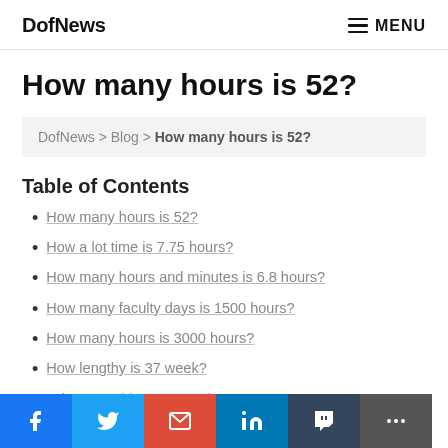DofNews   MENU
How many hours is 52?
DofNews > Blog > How many hours is 52?
Table of Contents
How many hours is 52?
How a lot time is 7.75 hours?
How many hours and minutes is 6.8 hours?
How many faculty days is 1500 hours?
How many hours is 3000 hours?
How lengthy is 37 week?
Is it OK to ship at 37 weeks?
Is child absolutely developed at 37 weeks?